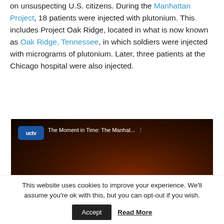on unsuspecting U.S. citizens. During the Manhattan Project, 18 patients were injected with plutonium. This includes Project Oak Ridge, located in what is now known as Oak Ridge, Tennessee, in which soldiers were injected with micrograms of plutonium. Later, three patients at the Chicago hospital were also injected.
[Figure (screenshot): Video thumbnail for 'The Moment in Time: The Manhattan Project' on UCTV. Dark background with orange-red glow, white bold text reading 'THE MANHATTAN PROJECT', UCTV logo in upper left, YouTube play button at bottom center.]
This website uses cookies to improve your experience. We'll assume you're ok with this, but you can opt-out if you wish.